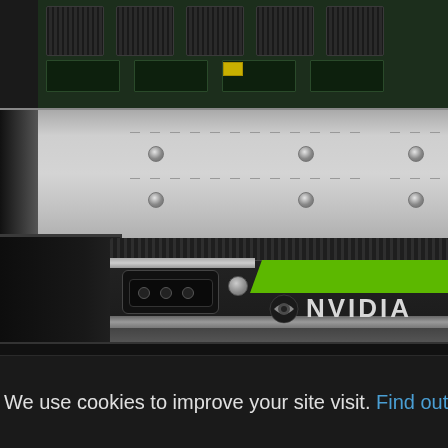[Figure (photo): Close-up photograph of a server chassis with an NVIDIA GPU card being inserted. The top portion shows a silver server chassis with PCB/motherboard components, green circuit boards, fan connectors, and screw holes. The bottom portion shows an NVIDIA branded GPU card with a green stripe and the NVIDIA logo with the iconic eye icon in silver/dark finish being slid into the server rack.]
We use cookies to improve your site visit. Find out m